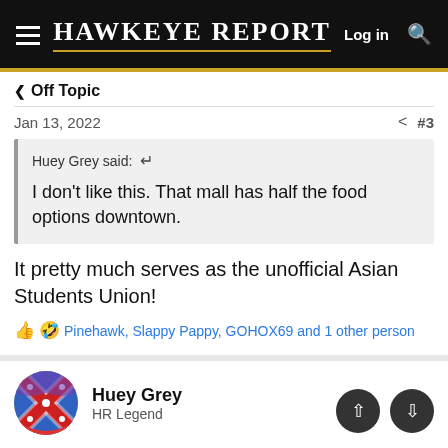Hawkeye Report — Log in
< Off Topic
Jan 13, 2022  #3
Huey Grey said: ↩ I don't like this. That mall has half the food options downtown.
It pretty much serves as the unofficial Asian Students Union!
👍 🤣 Pinehawk, Slappy Pappy, GOHOX69 and 1 other person
Huey Grey — HR Legend